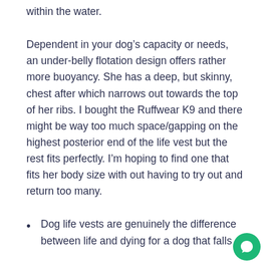within the water.
Dependent in your dog’s capacity or needs, an under-belly flotation design offers rather more buoyancy. She has a deep, but skinny, chest after which narrows out towards the top of her ribs. I bought the Ruffwear K9 and there might be way too much space/gapping on the highest posterior end of the life vest but the rest fits perfectly. I’m hoping to find one that fits her body size with out having to try out and return too many.
Dog life vests are genuinely the difference between life and dying for a dog that falls